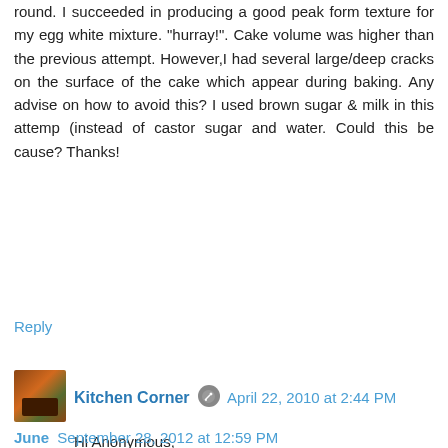round. I succeeded in producing a good peak form texture for my egg white mixture. "hurray!". Cake volume was higher than the previous attempt. However,I had several large/deep cracks on the surface of the cake which appear during baking. Any advise on how to avoid this? I used brown sugar & milk in this attemp (instead of castor sugar and water. Could this be cause? Thanks!
Reply
Kitchen Corner  April 22, 2010 at 2:44 PM
Hi Anonymous,
Glad to know you like this recipe.
Sometimes there is a large cracks on the cake surface. I guess it's because I didn't fold in the egg white nicely and left some in the batter. I'm not sure if the brown sugar. Anyway, when I turn the cake out the another side. No one can see the cracks :P
Reply
June  September 28, 2012 at 12:59 PM